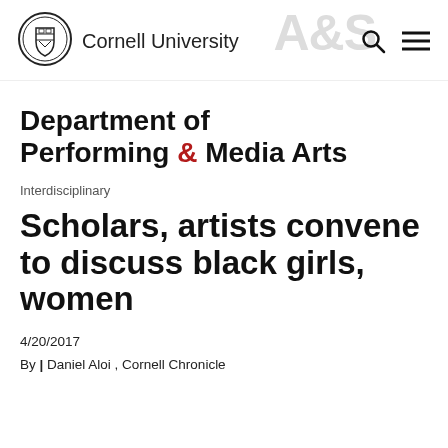Cornell University
Department of Performing & Media Arts
Interdisciplinary
Scholars, artists convene to discuss black girls, women
4/20/2017
By | Daniel Aloi , Cornell Chronicle